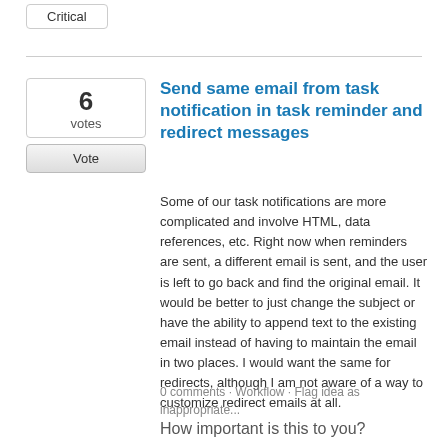Critical
Send same email from task notification in task reminder and redirect messages
Some of our task notifications are more complicated and involve HTML, data references, etc. Right now when reminders are sent, a different email is sent, and the user is left to go back and find the original email. It would be better to just change the subject or have the ability to append text to the existing email instead of having to maintain the email in two places. I would want the same for redirects, although I am not aware of a way to customize redirect emails at all.
0 comments · Workflow · Flag idea as inappropriate...
How important is this to you?